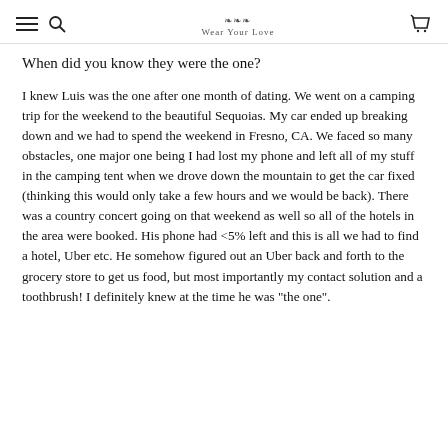Wear Your Love
When did you know they were the one?
I knew Luis was the one after one month of dating. We went on a camping trip for the weekend to the beautiful Sequoias. My car ended up breaking down and we had to spend the weekend in Fresno, CA. We faced so many obstacles, one major one being I had lost my phone and left all of my stuff in the camping tent when we drove down the mountain to get the car fixed (thinking this would only take a few hours and we would be back). There was a country concert going on that weekend as well so all of the hotels in the area were booked. His phone had <5% left and this is all we had to find a hotel, Uber etc. He somehow figured out an Uber back and forth to the grocery store to get us food, but most importantly my contact solution and a toothbrush! I definitely knew at the time he was "the one".